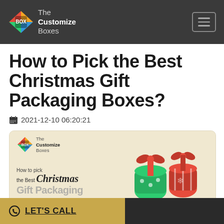The Customize Boxes
How to Pick the Best Christmas Gift Packaging Boxes?
2021-12-10 06:20:21
[Figure (illustration): Banner image for 'How to pick the Best Christmas Gift Packaging Boxes' featuring The Customize Boxes logo, decorative text, and colorful wrapped Christmas gift bags with ribbons on a cream background]
LET'S CALL